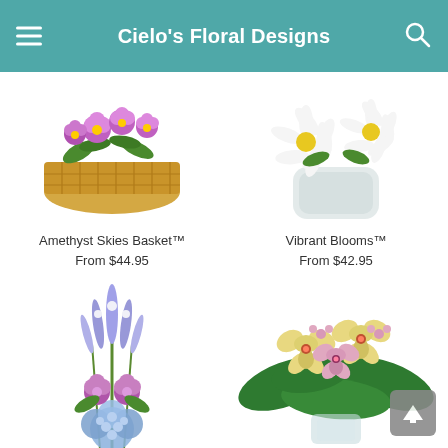Cielo's Floral Designs
[Figure (photo): Amethyst Skies Basket flower arrangement in a wicker basket with purple and pink flowers]
Amethyst Skies Basket™
From $44.95
[Figure (photo): Vibrant Blooms arrangement with white daisies in a frosted square vase]
Vibrant Blooms™
From $42.95
[Figure (photo): Tall purple and blue floral bouquet with roses and hydrangeas]
[Figure (photo): Orchid and pink flower arrangement in a glass vase with green leaves]